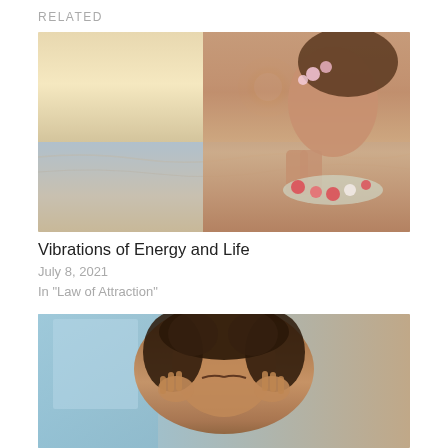RELATED
[Figure (photo): Woman with flowers in her hair, wearing a floral lei, hands in prayer position, eyes closed, at a beach with ocean waves and sunset in background]
Vibrations of Energy and Life
July 8, 2021
In "Law of Attraction"
[Figure (photo): Woman with curly hair, eyes closed, hands pressed to her temples as if having a headache or meditating, indoor background with window light]